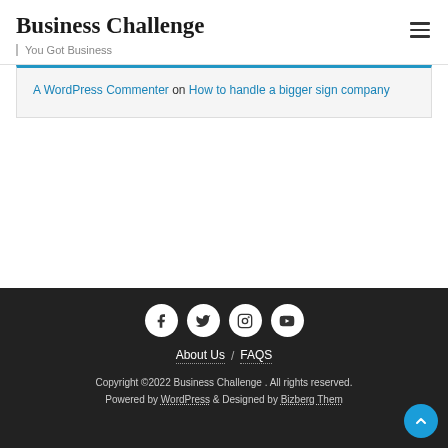Business Challenge
You Got Business
A WordPress Commenter on How to handle a bigger sign company
About Us / FAQS
Copyright ©2022 Business Challenge . All rights reserved.
Powered by WordPress & Designed by Bizberg Themes